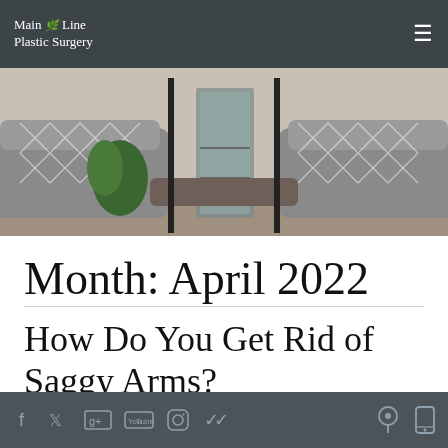Main Line Plastic Surgery
[Figure (photo): Interior photo of a waiting room with grey patterned armchairs and a glass display cabinet]
Month: April 2022
How Do You Get Rid of Saggy Arms?
Social media icons (Facebook, Twitter, Google, YouTube, Instagram, Klout) and location/mobile icons